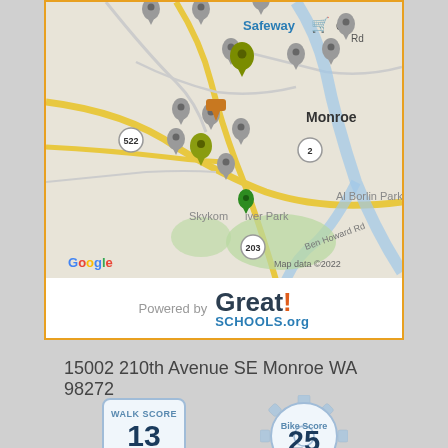[Figure (map): Google Maps view of Monroe, WA area showing school locations as map pins (gray, olive/green, and orange), with labels for Safeway, Monroe, Skykomish River Park, Al Borlin Park, Ben Howard Rd, Old Rd, Route 522, Route 2, Route 203. Map data ©2022.]
[Figure (logo): Powered by GreatSchools.org logo. Text: 'Powered by' in gray, then 'Great!' in dark bold with orange exclamation mark, and 'SCHOOLS.org' in blue below.]
15002 210th Avenue SE Monroe WA 98272
[Figure (infographic): Walk Score badge showing score of 13 in a speech bubble shape with blue border.]
[Figure (infographic): Bike Score badge showing score of 25 in a gear/cog shape with blue border.]